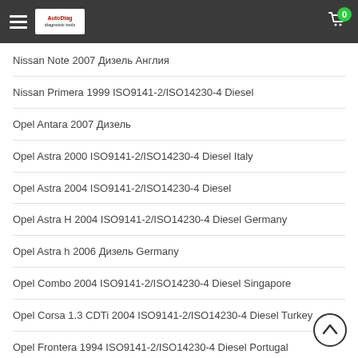Navigation header with hamburger menu, logo, and cart icon with badge 0
Nissan Note 2007 Дизель Англия
Nissan Primera 1999 ISO9141-2/ISO14230-4 Diesel
Opel Antara 2007 Дизель
Opel Astra 2000 ISO9141-2/ISO14230-4 Diesel Italy
Opel Astra 2004 ISO9141-2/ISO14230-4 Diesel
Opel Astra H 2004 ISO9141-2/ISO14230-4 Diesel Germany
Opel Astra h 2006 Дизель Germany
Opel Combo 2004 ISO9141-2/ISO14230-4 Diesel Singapore
Opel Corsa 1.3 CDTi 2004 ISO9141-2/ISO14230-4 Diesel Turkey
Opel Frontera 1994 ISO9141-2/ISO14230-4 Diesel Portugal
Opel Omega 1998 ISO9141-2/ISO14230-4 Diesel Israel